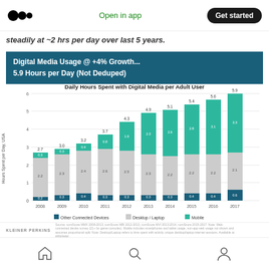Open in app | Get started
steadily at ~2 hrs per day over last 5 years.
Digital Media Usage @ +4% Growth... 5.9 Hours per Day (Not Deduped)
[Figure (stacked-bar-chart): Daily Hours Spent with Digital Media per Adult User]
KLEINER PERKINS | Source references and disclaimer text